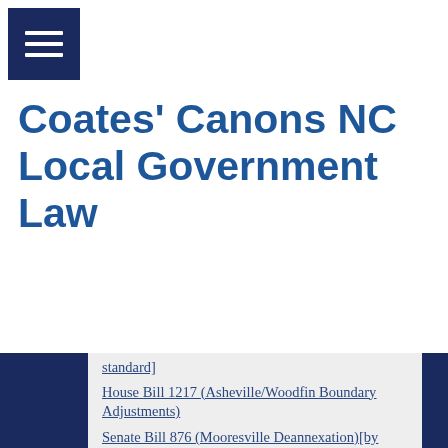[Figure (other): Hamburger menu button (three white horizontal lines on dark navy blue background)]
Coates' Canons NC Local Government Law
[...preceding text...standard]
House Bill 1217 (Asheville/Woodfin Boundary Adjustments)
Senate Bill 876 (Mooresville Deannexation)[by request]
Senate Bill 900 (Surf City Deannexation)
Senate Bill 901 (Ocean Isle Beach Satellite Annexation)[modifying satellite annexation standard]